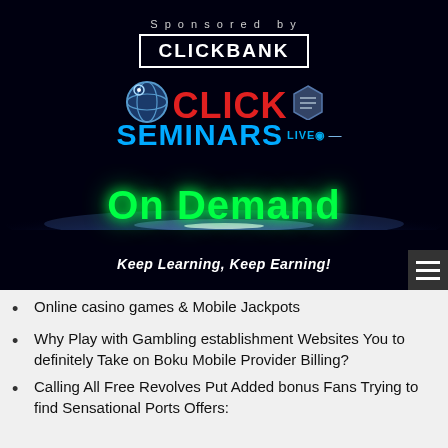[Figure (screenshot): ClickBank sponsored banner featuring Click Seminars Live On Demand logo with globe icon, red CLICK text, blue SEMINARS text, green glowing 'On Demand' text, and tagline 'Keep Learning, Keep Earning!' on dark space background with glowing blue horizon.]
Online casino games & Mobile Jackpots
Why Play with Gambling establishment Websites You to definitely Take on Boku Mobile Provider Billing?
Calling All Free Revolves Put Added bonus Fans Trying to find Sensational Ports Offers: